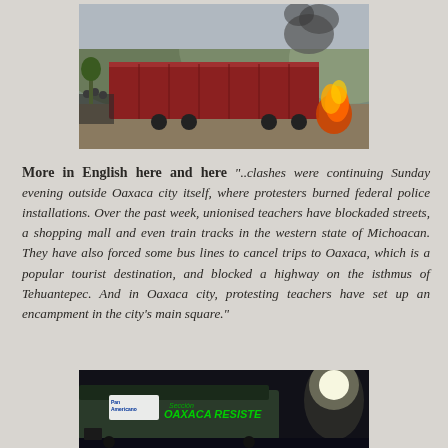[Figure (photo): Protest scene with a large red truck/trailer and fire burning on the right side, crowd of people visible on the left, outdoor daytime setting]
More in English here and here "..clashes were continuing Sunday evening outside Oaxaca city itself, where protesters burned federal police installations. Over the past week, unionised teachers have blockaded streets, a shopping mall and even train tracks in the western state of Michoacan. They have also forced some bus lines to cancel trips to Oaxaca, which is a popular tourist destination, and blocked a highway on the isthmus of Tehuantepec. And in Oaxaca city, protesting teachers have set up an encampment in the city's main square."
[Figure (photo): Night scene showing a vehicle with 'PanAmericano' logo and graffiti reading 'OAXACA RESISTE' written on it, bright light source visible in background]